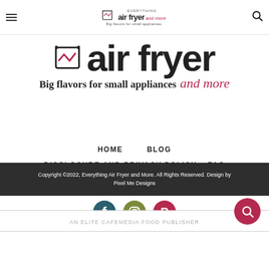Everything Air Fryer and More - Big flavors for small appliances and more
[Figure (logo): Everything Air Fryer and More logo - large banner with air fryer icon, bold 'air fryer' text, tagline 'Big flavors for small appliances and more' in cursive]
HOME
BLOG
DISCLOSURE AND PRIVACY POLICY
FAQ
RECIPE INDEX
[Figure (other): Social media icons: Facebook (dark teal circle), Instagram (olive/green circle), Pinterest (red circle)]
Copyright ©2022, Everything Air Fryer and More. All Rights Reserved. Design by Pixel Me Designs
AN ELITE CAFEMEDIA FOOD PUBLISHER